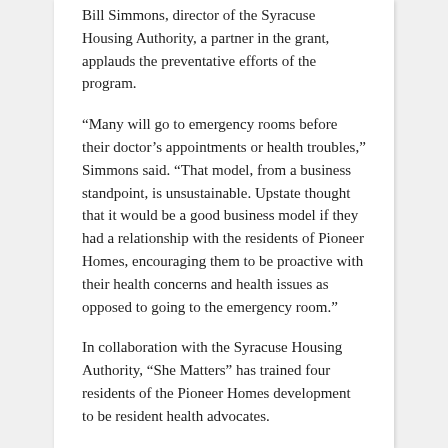Bill Simmons, director of the Syracuse Housing Authority, a partner in the grant, applauds the preventative efforts of the program.
“Many will go to emergency rooms before their doctor’s appointments or health troubles,” Simmons said. “That model, from a business standpoint, is unsustainable. Upstate thought that it would be a good business model if they had a relationship with the residents of Pioneer Homes, encouraging them to be proactive with their health concerns and health issues as opposed to going to the emergency room.”
In collaboration with the Syracuse Housing Authority, “She Matters” has trained four residents of the Pioneer Homes development to be resident health advocates.